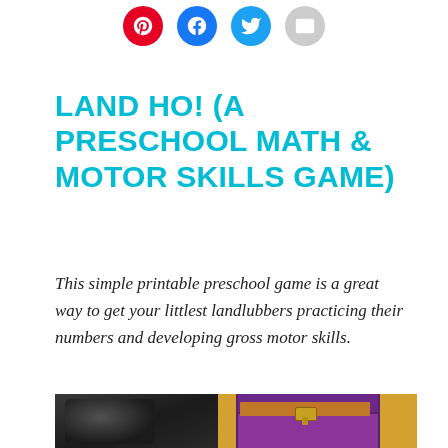[Figure (other): Social media share icons: Pinterest (red), Facebook (blue), Twitter (light blue), Email (gray)]
LAND HO! (A PRESCHOOL MATH & MOTOR SKILLS GAME)
This simple printable preschool game is a great way to get your littlest landlubbers practicing their numbers and developing gross motor skills.
[Figure (photo): Photo of a dark background on the left and a purple treasure chest on the right with gold latch and contents visible]